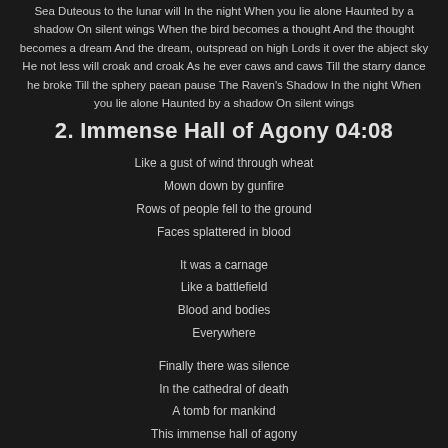Sea Duteous to the lunar will In the night When you lie alone Haunted by a shadow On silent wings When the bird becomes a thought And the thought becomes a dream And the dream, outspread on high Lords it over the abject sky He not less will croak and croak As he ever caws and caws Till the starry dance he broke Till the sphery paean pause The Raven's Shadow In the night When you lie alone Haunted by a shadow On silent wings
2. Immense Hall of Agony 04:08
Like a gust of wind through wheat
Mown down by gunfire
Rows of people fell to the ground
Faces splattered in blood
It was a carnage
Like a battlefield
Blood and bodies
Everywhere
Finally there was silence
In the cathedral of death
A tomb for mankind
This immense hall of agony
As chaos reigns